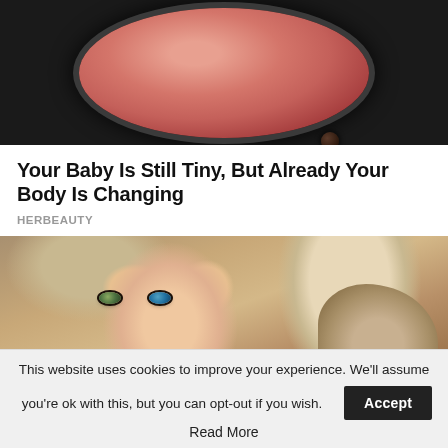[Figure (photo): Close-up photo of a round piece of meat (hamburger patty) cooking in a dark pan with sizzling oil and bubbles around the edges]
Your Baby Is Still Tiny, But Already Your Body Is Changing
HERBEAUTY
[Figure (photo): Close-up photo of a blonde woman with heterochromia eyes (one green, one blue) holding a small dog near her face, with blurred outdoor background]
This website uses cookies to improve your experience. We'll assume you're ok with this, but you can opt-out if you wish. Accept
Read More